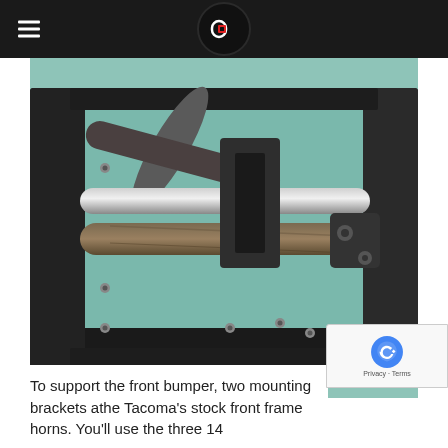Driving line logo navigation header
[Figure (photo): Close-up photograph of a front bumper mounting bracket assembly for a Toyota Tacoma, showing cylindrical metal bars and bolts on a teal/green surface, with a 'DRIVING' watermark in the bottom right corner.]
To support the front bumper, two mounting brackets a[re bolted to] the Tacoma's stock front frame horns. You'll use the three 14[…]